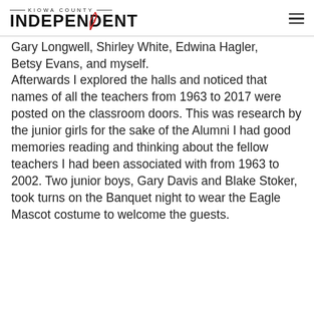KIOWA COUNTY INDEPENDENT
Gary Longwell, Shirley White, Edwina Hagler, Betsy Evans, and myself. Afterwards I explored the halls and noticed that names of all the teachers from 1963 to 2017 were posted on the classroom doors. This was research by the junior girls for the sake of the Alumni I had good memories reading and thinking about the fellow teachers I had been associated with from 1963 to 2002. Two junior boys, Gary Davis and Blake Stoker, took turns on the Banquet night to wear the Eagle Mascot costume to welcome the guests.